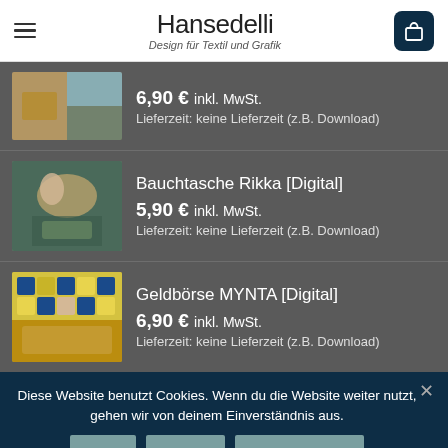Hansedelli — Design für Textil und Grafik
6,90 € inkl. MwSt.
Lieferzeit: keine Lieferzeit (z.B. Download)
Bauchtasche Rikka [Digital]
5,90 € inkl. MwSt.
Lieferzeit: keine Lieferzeit (z.B. Download)
Geldbörse MYNTA [Digital]
6,90 € inkl. MwSt.
Lieferzeit: keine Lieferzeit (z.B. Download)
Diese Website benutzt Cookies. Wenn du die Website weiter nutzt, gehen wir von deinem Einverständnis aus.